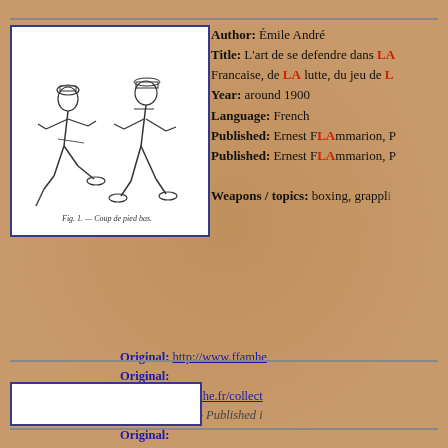[Figure (illustration): Line drawing of two men in early 1900s clothing demonstrating a low kick fighting technique. Caption reads: Fig. 1. — Coup de pied bas.]
Author: Émile André
Title: L'art de se defendre dans LA ... Francaise, de LA lutte, du jeu de L...
Year: around 1900
Language: French
Published: Ernest FLAmmarion, P...
Published: Ernest FLAmmarion, P...
Weapons / topics: boxing, grappl...
Original: http://www.ffamhe...
Original:
http://www.ffamhe.fr/collect...
( with weapons - Published i...
Original:
http://www.ffamhe.fr/collect...
( without weapons - Publishe...
English transLAtion:
https://hitandnotbehit.files.w...